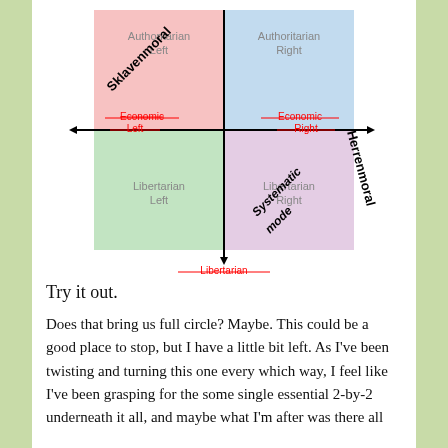[Figure (infographic): Political compass 2x2 diagram with four quadrants: Authoritarian Left (pink, top-left), Authoritarian Right (blue, top-right), Libertarian Left (green, bottom-left), Libertarian Right (purple, bottom-right). Horizontal axis labeled Economic Left/Right (struck through in red). Vertical axis labeled Libertarian (bottom, struck through in red). Diagonal labels: Sklavenmoral (top-left diagonal) and Herrenmoral (right diagonal). Bottom axis label: Systematic mode (diagonal). Labels Economic Left and Economic Right are struck through in red.]
Try it out.
Does that bring us full circle? Maybe. This could be a good place to stop, but I have a little bit left. As I've been twisting and turning this one every which way, I feel like I've been grasping for the some single essential 2-by-2 underneath it all, and maybe what I'm after was there all along.